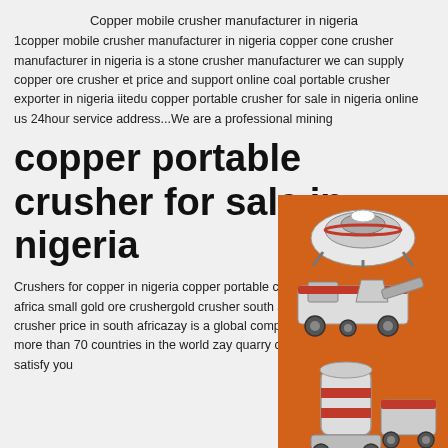Copper mobile crusher manufacturer in nigeria
1copper mobile crusher manufacturer in nigeria copper cone crusher manufacturer in nigeria is a stone crusher manufacturer we can supply copper ore crusher et price and support online coal portable crusher exporter in nigeria iitedu copper portable crusher for sale in nigeria online us 24hour service address...We are a professional mining
copper portable crusher for sale in nigeria
[Figure (illustration): Orange sidebar advertisement panel showing mining crusher machinery images, 'Enjoy 3% discount', 'Click to Chat', 'Enquiry', and 'limingjlmofen@sina.com']
Crushers for copper in nigeria copper portable crusher provider in south africa small gold ore crushergold crusher south africa copper portable crusher price in south africazay is a global company with products sold to more than 70 countries in the world zay quarry crusher euipments would satisfy you